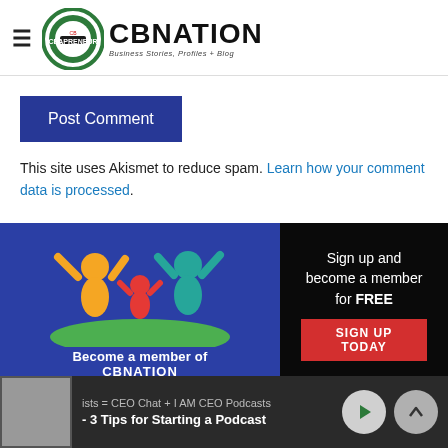CBNation — Business Stories, Profiles + Blog
Post Comment
This site uses Akismet to reduce spam. Learn how your comment data is processed.
[Figure (infographic): CBNation membership banner with three people figures (orange, red, teal) on blue background with text 'Become a member of CBNATION' and black panel saying 'Sign up and become a member for FREE' with red SIGN UP TODAY button]
ists = CEO Chat + I AM CEO Podcasts - 3 Tips for Starting a Podcast